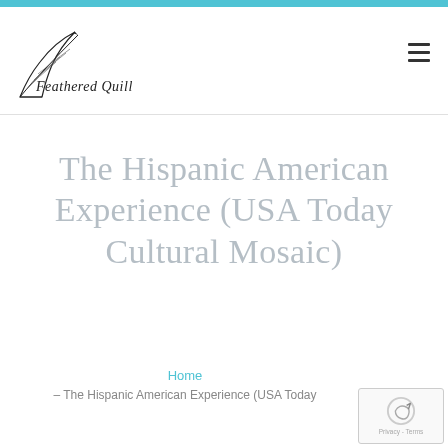[Figure (logo): Feathered Quill logo with stylized quill pen and cursive text]
The Hispanic American Experience (USA Today Cultural Mosaic)
Home
– The Hispanic American Experience (USA Today